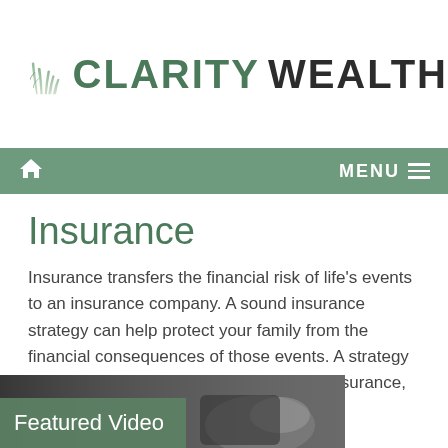[Figure (logo): Clarity Wealth logo with green grass/reed graphic and company name]
MENU
Insurance
Insurance transfers the financial risk of life's events to an insurance company. A sound insurance strategy can help protect your family from the financial consequences of those events. A strategy can include personal insurance, liability insurance, and life insurance.
[Figure (photo): Featured Video - photo of a hand holding a device, dark background]
Featured Video